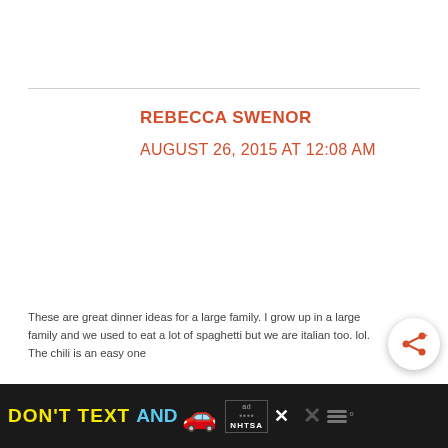REBECCA SWENOR
AUGUST 26, 2015 AT 12:08 AM
These are great dinner ideas for a large family. I grow up in a large family and we used to eat a lot of spaghetti but we are italian too. lol. The chili is an easy one
[Figure (other): Advertisement banner: DON'T TEXT AND [car emoji] with ad badge and NHTSA logo, close button and share icon]
DON'T TEXT AND [car] ad NHTSA